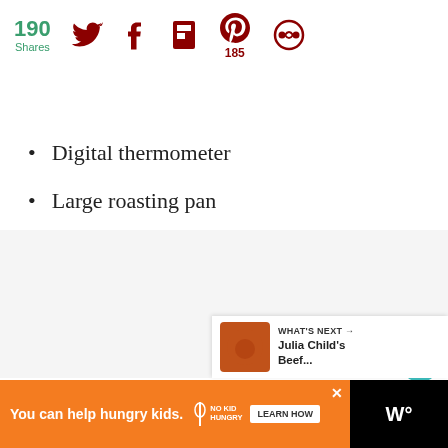190 Shares | Social share icons: Twitter, Facebook, Flipboard, Pinterest (185), Other
Digital thermometer
Large roasting pan
[Figure (screenshot): Gray content placeholder area with floating heart (teal) and share (white) action buttons on the right side, and a 'What's Next: Julia Child's Beef...' recommendation panel in the bottom right corner]
[Figure (infographic): Orange advertisement banner: 'You can help hungry kids.' with No Kid Hungry logo and 'LEARN HOW' button. Black background on right side with white 'W°' logo. Close X button on top right of orange area.]